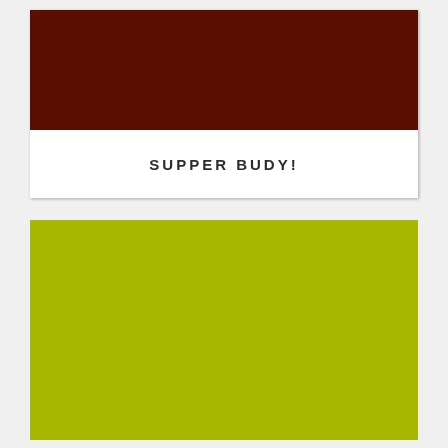[Figure (illustration): Dark brown rectangular color block at the top of a greeting card]
SUPPER BUDY!
[Figure (illustration): Olive/yellow-green rectangular color block filling the lower portion of the card]